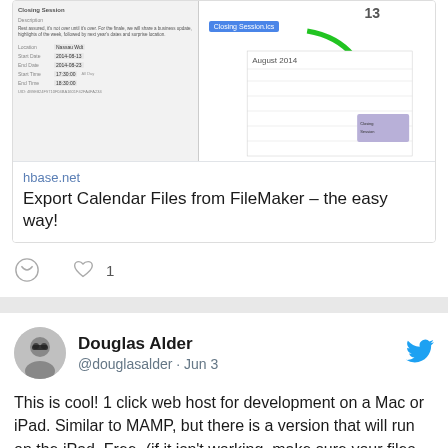[Figure (screenshot): Screenshot of FileMaker calendar export dialog and calendar application showing a closing session event on August 13, 2014, with a green arrow pointing to a calendar entry, and an ICS file badge labeled 'Closing Session.ics']
hbase.net
Export Calendar Files from FileMaker – the easy way!
[Figure (infographic): Action bar with comment bubble icon and heart/like icon with count of 1]
Douglas Alder @douglasalder · Jun 3
This is cool! 1 click web host for development on a Mac or iPad. Similar to MAMP, but there is a version that will run on the iPad.  Free. (if it isn't working, make sure your files have downloaded from iCloud in the Files